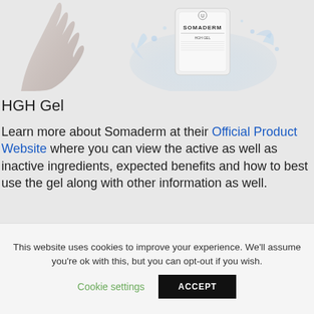[Figure (photo): Product image showing a hand and a Somaderm gel bottle with water splash on a light grey background]
HGH Gel
Learn more about Somaderm at their Official Product Website where you can view the active as well as inactive ingredients, expected benefits and how to best use the gel along with other information as well.
This website uses cookies to improve your experience. We'll assume you're ok with this, but you can opt-out if you wish. Cookie settings ACCEPT